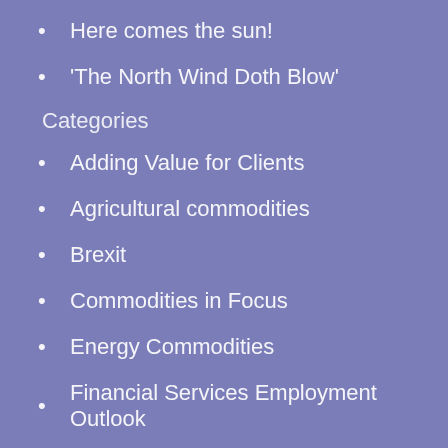Here comes the sun!
'The North Wind Doth Blow'
Categories
Adding Value for Clients
Agricultural commodities
Brexit
Commodities in Focus
Energy Commodities
Financial Services Employment Outlook
Financial Services Trends
Graduate